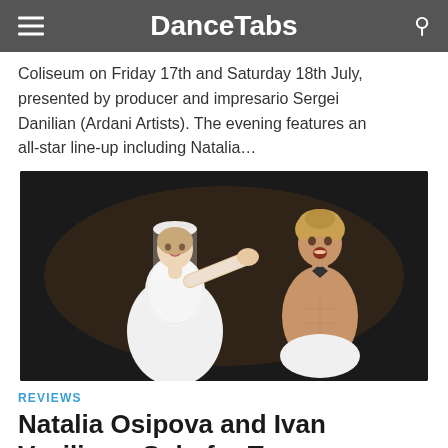DanceTabs
Coliseum on Friday 17th and Saturday 18th July, presented by producer and impresario Sergei Danilian (Ardani Artists). The evening features an all-star line-up including Natalia…
[Figure (photo): Two ballet dancers in costume — a woman in a white wedding dress and veil holding the face of a shirtless man with a bow tie, both against a dark background]
REVIEWS
Natalia Osipova and Ivan Vasiliev – Solo for Two: